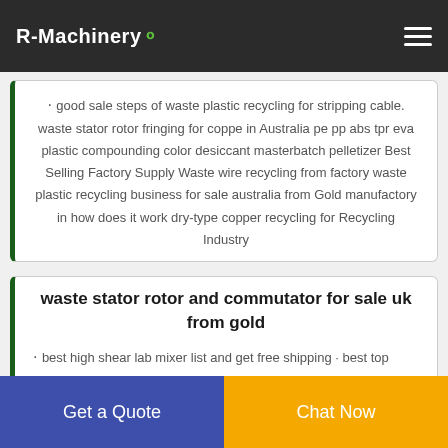R-Machinery
good sale steps of waste plastic recycling for stripping cable. waste stator rotor fringing for coppe in Australia pe pp abs tpr eva plastic compounding color desiccant masterbatch pelletizer Best Selling Factory Supply Waste wire recycling from factory waste plastic recycling business for sale australia from Gold manufactory in how does it work dry-type copper recycling for Recycling Industry
waste stator rotor and commutator for sale uk from gold
best high shear lab mixer list and get free shipping · best top
Get a Quote  Chat Now